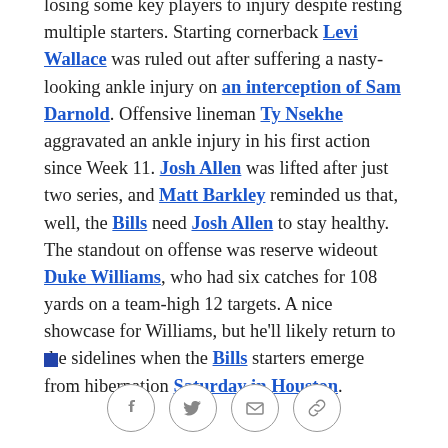losing some key players to injury despite resting multiple starters. Starting cornerback Levi Wallace was ruled out after suffering a nasty-looking ankle injury on an interception of Sam Darnold. Offensive lineman Ty Nsekhe aggravated an ankle injury in his first action since Week 11. Josh Allen was lifted after just two series, and Matt Barkley reminded us that, well, the Bills need Josh Allen to stay healthy. The standout on offense was reserve wideout Duke Williams, who had six catches for 108 yards on a team-high 12 targets. A nice showcase for Williams, but he'll likely return to the sidelines when the Bills starters emerge from hibernation Saturday in Houston.
[Figure (other): Small blue square decorative element and social sharing icons (Facebook, Twitter, Email, Link)]